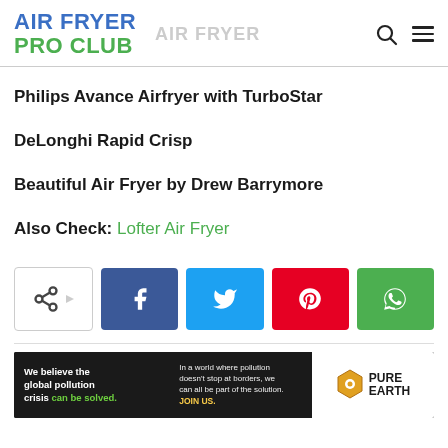AIR FRYER PRO CLUB
Philips Avance Airfryer with TurboStar
DeLonghi Rapid Crisp
Beautiful Air Fryer by Drew Barrymore
Also Check: Lofter Air Fryer
[Figure (infographic): Social share buttons: share (native), Facebook (blue), Twitter (cyan), Pinterest (red), WhatsApp (green)]
[Figure (infographic): Pure Earth advertisement banner: 'We believe the global pollution crisis can be solved. In a world where pollution doesn't stop at borders, we can all be part of the solution. JOIN US. PURE EARTH']